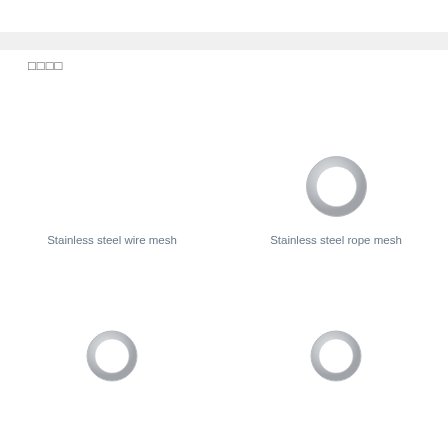□□□□
[Figure (illustration): Empty placeholder area for stainless steel wire mesh product image]
Stainless steel wire mesh
[Figure (illustration): Ring/circle shape representing stainless steel rope mesh product, shown as a circular ring with metallic shading]
Stainless steel rope mesh
[Figure (illustration): Smaller ring/circle shape, product image placeholder, circular ring with metallic shading]
[Figure (illustration): Smaller ring/circle shape, product image placeholder, circular ring with metallic shading]